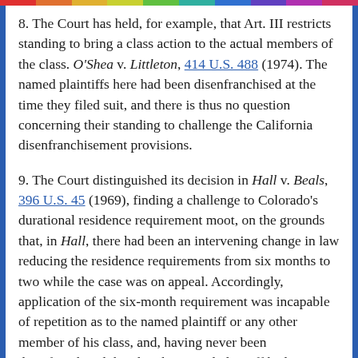8. The Court has held, for example, that Art. III restricts standing to bring a class action to the actual members of the class. O'Shea v. Littleton, 414 U.S. 488 (1974). The named plaintiffs here had been disenfranchised at the time they filed suit, and there is thus no question concerning their standing to challenge the California disenfranchisement provisions.
9. The Court distinguished its decision in Hall v. Beals, 396 U.S. 45 (1969), finding a challenge to Colorado's durational residence requirement moot, on the grounds that, in Hall, there had been an intervening change in law reducing the residence requirements from six months to two while the case was on appeal. Accordingly, application of the six-month requirement was incapable of repetition as to the named plaintiff or any other member of his class, and, having never been disenfranchised thereby, the named plaintiff had no standing to challenge the two-